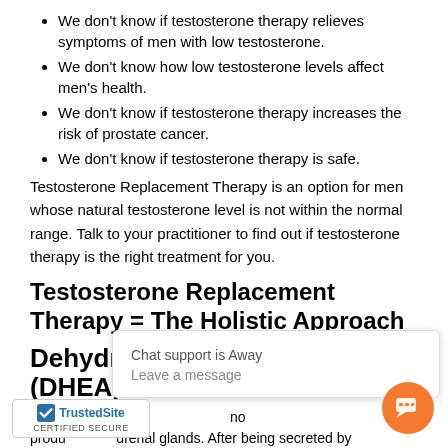We don't know if testosterone therapy relieves symptoms of men with low testosterone.
We don't know how low testosterone levels affect men's health.
We don't know if testosterone therapy increases the risk of prostate cancer.
We don't know if testosterone therapy is safe.
Testosterone Replacement Therapy is an option for men whose natural testosterone level is not within the normal range. Talk to your practitioner to find out if testosterone therapy is the right treatment for you.
Testosterone Replacement Therapy = The Holistic Approach
Dehydroepiandrosterone (DHEA)
This is produced in the adrenal glands. After being secreted by